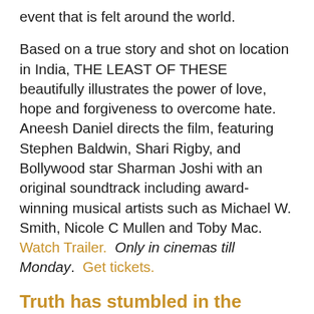event that is felt around the world.
Based on a true story and shot on location in India, THE LEAST OF THESE beautifully illustrates the power of love, hope and forgiveness to overcome hate. Aneesh Daniel directs the film, featuring Stephen Baldwin, Shari Rigby, and Bollywood star Sharman Joshi with an original soundtrack including award-winning musical artists such as Michael W. Smith, Nicole C Mullen and Toby Mac.  Watch Trailer.  Only in cinemas till Monday.  Get tickets.
Truth has stumbled in the public square.